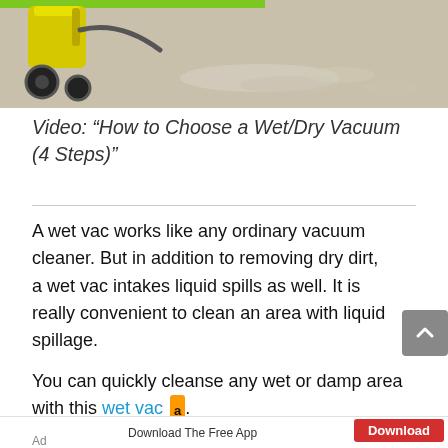[Figure (photo): A wet/dry vacuum machine (yellow) with its wheel visible, on a light gray floor with debris/sawdust scattered nearby. A green bar appears at the top left of the image.]
Video: “How to Choose a Wet/Dry Vacuum (4 Steps)”
A wet vac works like any ordinary vacuum cleaner. But in addition to removing dry dirt, a wet vac intakes liquid spills as well. It is really convenient to clean an area with liquid spillage.
You can quickly cleanse any wet or damp area with this wet vac.